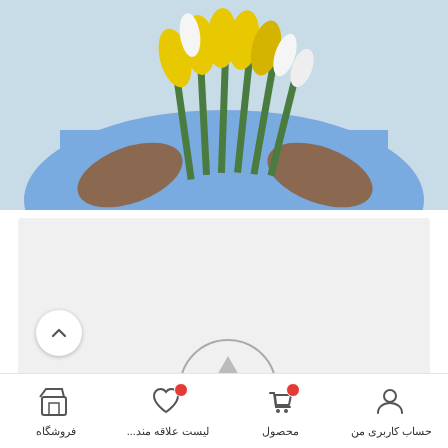[Figure (photo): Person holding yellow and white tulips in front of a light blue background]
[Figure (screenshot): Promotional slide with light gray background showing a play button icon, 'Flowers For Date' text in pink cursive, and 'Delicate flowers for her.' text]
فروشگاه | لیست علاقه مند... | محصول | حساب کاربری من